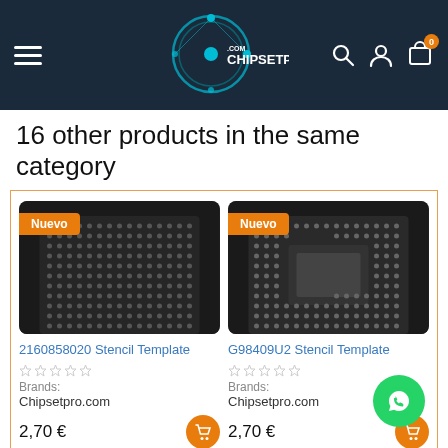CHIPSETPRO.COM — navigation bar with logo, search, account, cart icons
16 other products in the same category
[Figure (screenshot): Product card: 2160858020 Stencil Template chip stencil image with Nuevo badge, 5-star rating, brand Chipsetpro.com, price 2,70 €]
[Figure (screenshot): Product card: G98409U2 Stencil Template chip stencil image with Nuevo badge, 5-star rating, brand Chipsetpro.com, price 2,70 €]